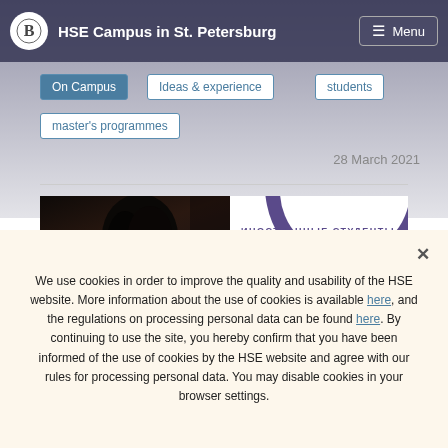HSE Campus in St. Petersburg
On Campus
Ideas & experience
students
master's programmes
28 March 2021
[Figure (photo): Photo of a young Asian student overlaid with a purple circular graphic design and Cyrillic text 'ИНОСТРАННЫЕ СТУДЕНТЫ' (Foreign Students)]
We use cookies in order to improve the quality and usability of the HSE website. More information about the use of cookies is available here, and the regulations on processing personal data can be found here. By continuing to use the site, you hereby confirm that you have been informed of the use of cookies by the HSE website and agree with our rules for processing personal data. You may disable cookies in your browser settings.